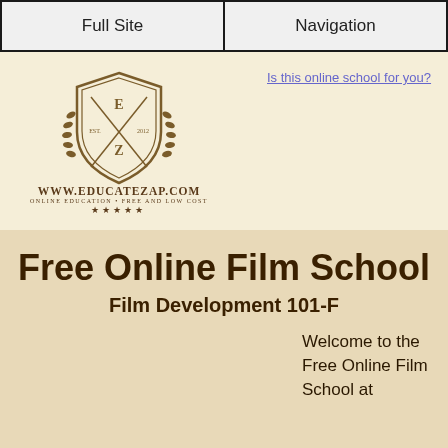Full Site | Navigation
[Figure (logo): EducateZap.com shield logo with laurel wreath, letters E and Z, EST and 2012, with text WWW.EDUCATEZAP.COM, ONLINE EDUCATION • FREE AND LOW COST, and five stars]
Is this online school for you?
Free Online Film School
Film Development 101-F
Welcome to the Free Online Film School at